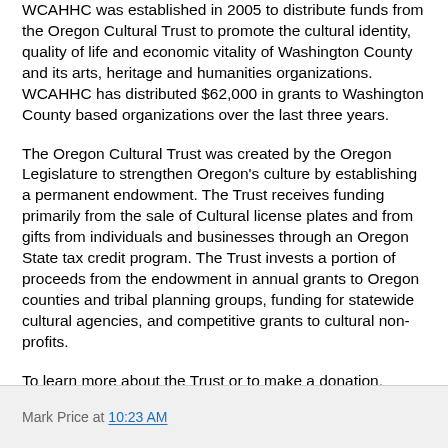WCAHHC was established in 2005 to distribute funds from the Oregon Cultural Trust to promote the cultural identity, quality of life and economic vitality of Washington County and its arts, heritage and humanities organizations. WCAHHC has distributed $62,000 in grants to Washington County based organizations over the last three years.
The Oregon Cultural Trust was created by the Oregon Legislature to strengthen Oregon's culture by establishing a permanent endowment. The Trust receives funding primarily from the sale of Cultural license plates and from gifts from individuals and businesses through an Oregon State tax credit program. The Trust invests a portion of proceeds from the endowment in annual grants to Oregon counties and tribal planning groups, funding for statewide cultural agencies, and competitive grants to cultural non-profits.
To learn more about the Trust or to make a donation, please visit www.culturaltrust.org.
Mark Price at 10:23 AM